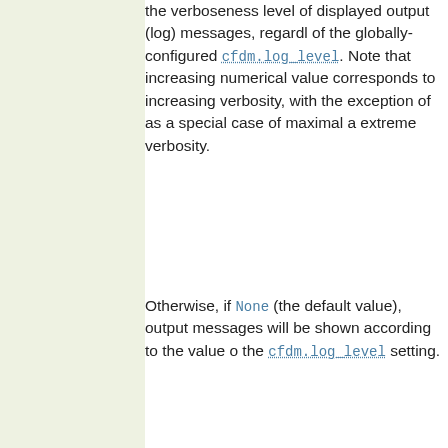the verboseness level of displayed output (log) messages, regardless of the globally-configured cfdm.log_level. Note that increasing numerical value corresponds to increasing verbosity, with the exception of -1 as a special case of maximal and extreme verbosity.
Otherwise, if None (the default value), output messages will be shown according to the value of the cfdm.log_level setting.
Overall, the higher a non-negative integer or equivalent string that is set (up to a maximum of 3/'DETAIL') for increasing